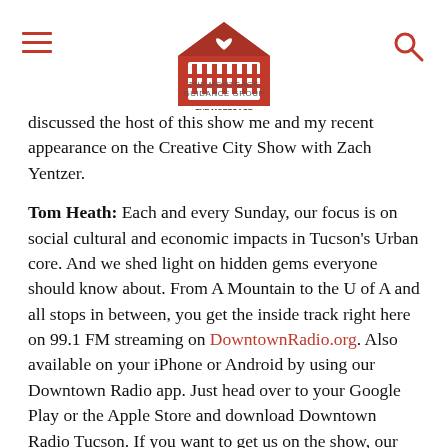The Mortgage Guidance Group logo with hamburger menu and search icon
discussed the host of this show me and my recent appearance on the Creative City Show with Zach Yentzer.
Tom Heath: Each and every Sunday, our focus is on social cultural and economic impacts in Tucson's Urban core. And we shed light on hidden gems everyone should know about. From A Mountain to the U of A and all stops in between, you get the inside track right here on 99.1 FM streaming on DowntownRadio.org. Also available on your iPhone or Android by using our Downtown Radio app. Just head over to your Google Play or the Apple Store and download Downtown Radio Tucson. If you want to get us on the show, our email address is Contact@LifeAlongTheStreetcar.org. You can interact with us on Facebook at Life Along the Streetcar and follow us on Twitter at Streetcar Life.
Tom Heath: Today is September 1st. My name is Tom Heath and you're listening to Life along the Streetcar. And we start the show with some hard labor. Now those responsible for the creation of